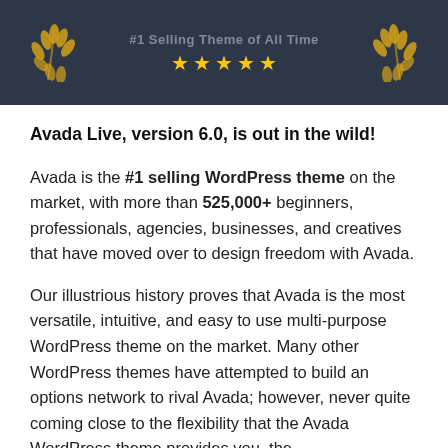[Figure (illustration): Dark navy banner with laurel wreaths on left and right sides, five gold stars in the center, and faded text above the stars reading '#1 Selling Theme of All Time']
Avada Live, version 6.0, is out in the wild!
Avada is the #1 selling WordPress theme on the market, with more than 525,000+ beginners, professionals, agencies, businesses, and creatives that have moved over to design freedom with Avada.
Our illustrious history proves that Avada is the most versatile, intuitive, and easy to use multi-purpose WordPress theme on the market. Many other WordPress themes have attempted to build an options network to rival Avada; however, never quite coming close to the flexibility that the Avada WordPress theme provides you, the